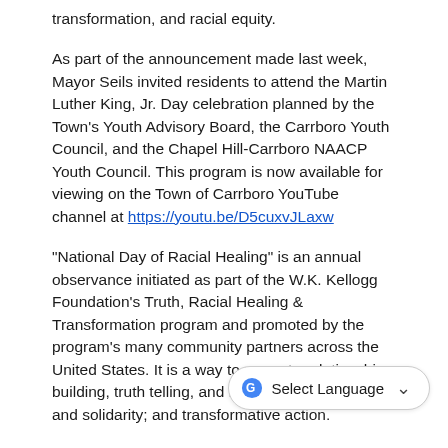transformation, and racial equity.
As part of the announcement made last week, Mayor Seils invited residents to attend the Martin Luther King, Jr. Day celebration planned by the Town’s Youth Advisory Board, the Carrboro Youth Council, and the Chapel Hill-Carrboro NAACP Youth Council. This program is now available for viewing on the Town of Carrboro YouTube channel at https://youtu.be/D5cuxvJLaxw
“National Day of Racial Healing” is an annual observance initiated as part of the W.K. Kellogg Foundation’s Truth, Racial Healing & Transformation program and promoted by the program’s many community partners across the United States. It is a way to promote relationship-building, truth telling, and racial equity; healing and solidarity; and transformative action.
The Carrboro proclamation states: “W… recognize that we all must work earnestly and intentionally to heal the wounds created by racial,